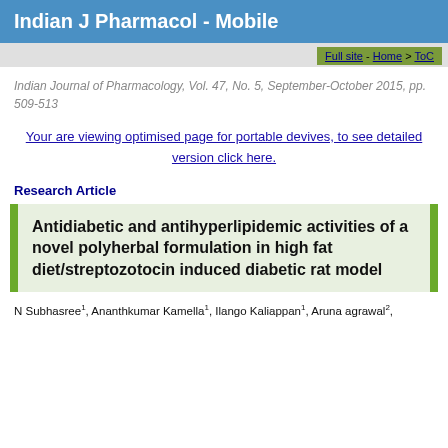Indian J Pharmacol - Mobile
Full site - Home > ToC
Indian Journal of Pharmacology, Vol. 47, No. 5, September-October 2015, pp. 509-513
Your are viewing optimised page for portable devives, to see detailed version click here.
Research Article
Antidiabetic and antihyperlipidemic activities of a novel polyherbal formulation in high fat diet/streptozotocin induced diabetic rat model
N Subhasree1, Ananthkumar Kamella1, Ilango Kaliappan1, Aruna agrawal2,